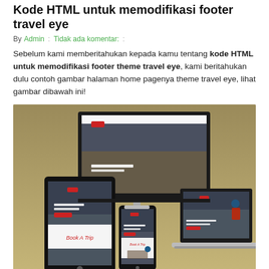Kode HTML untuk memodifikasi footer travel eye
By Admin : Tidak ada komentar: :
Sebelum kami memberitahukan kepada kamu tentang kode HTML untuk memodifikasi footer theme travel eye, kami beritahukan dulu contoh gambar halaman home pagenya theme travel eye, lihat gambar dibawah ini!
[Figure (screenshot): Screenshot of Travel Eye theme shown on desktop monitor, tablet, mobile phone, and laptop devices with 'Road Trip Around The Globe' hero image and 'Book A Trip' section]
Theme Travel Eye.